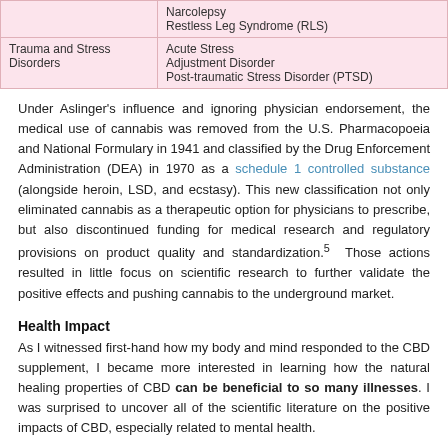| Category | Conditions |
| --- | --- |
|  | Narcolepsy
Restless Leg Syndrome (RLS) |
| Trauma and Stress Disorders | Acute Stress
Adjustment Disorder
Post-traumatic Stress Disorder (PTSD) |
Under Aslinger's influence and ignoring physician endorsement, the medical use of cannabis was removed from the U.S. Pharmacopoeia and National Formulary in 1941 and classified by the Drug Enforcement Administration (DEA) in 1970 as a schedule 1 controlled substance (alongside heroin, LSD, and ecstasy). This new classification not only eliminated cannabis as a therapeutic option for physicians to prescribe, but also discontinued funding for medical research and regulatory provisions on product quality and standardization.5  Those actions resulted in little focus on scientific research to further validate the positive effects and pushing cannabis to the underground market.
Health Impact
As I witnessed first-hand how my body and mind responded to the CBD supplement, I became more interested in learning how the natural healing properties of CBD can be beneficial to so many illnesses. I was surprised to uncover all of the scientific literature on the positive impacts of CBD, especially related to mental health.